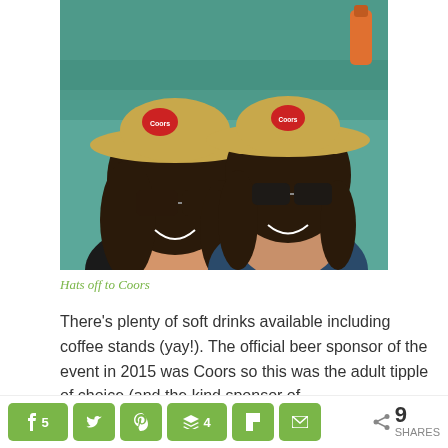[Figure (photo): Two women smiling at the camera, both wearing straw cowboy hats with Coors branding/logos, and sunglasses. They appear to be at an outdoor event, with green bleacher railings visible in the background.]
Hats off to Coors
There’s plenty of soft drinks available including coffee stands (yay!). The official beer sponsor of the event in 2015 was Coors so this was the adult tipple of choice (and the kind sponsor of
5  [twitter]  [pinterest]  4  [flipboard]  [email]  < share  9 SHARES